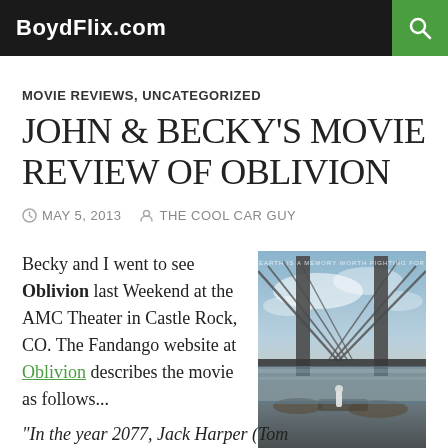BoydFlix.com
MOVIE REVIEWS, UNCATEGORIZED
JOHN & BECKY'S MOVIE REVIEW OF OBLIVION
MAY 5, 2013   THE COOL CAR GUY
Becky and I went to see Oblivion last Weekend at the AMC Theater in Castle Rock, CO. The Fandango website at Oblivion describes the movie as follows...
[Figure (photo): Movie poster for Oblivion showing a man standing on a destroyed bridge with dramatic sky]
"In the year 2077, Jack Harper (Tom